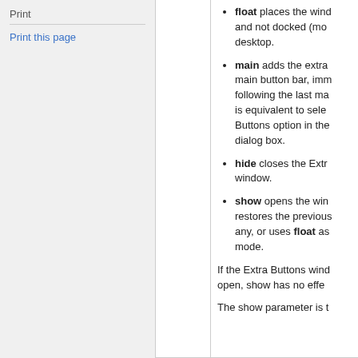Print
Print this page
float places the window and not docked (mo... desktop.
main adds the extra main button bar, imm... following the last ma... is equivalent to sele... Buttons option in the dialog box.
hide closes the Extr... window.
show opens the win... restores the previous... any, or uses float as mode.
If the Extra Buttons wind... open, show has no effe...
The show parameter is t...